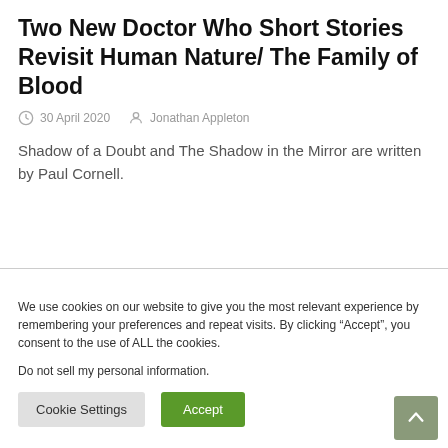Two New Doctor Who Short Stories Revisit Human Nature/ The Family of Blood
30 April 2020   Jonathan Appleton
Shadow of a Doubt and The Shadow in the Mirror are written by Paul Cornell.
We use cookies on our website to give you the most relevant experience by remembering your preferences and repeat visits. By clicking “Accept”, you consent to the use of ALL the cookies.
Do not sell my personal information.